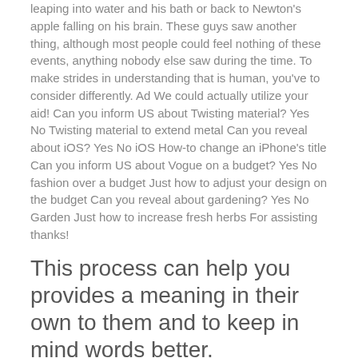leaping into water and his bath or back to Newton's apple falling on his brain. These guys saw another thing, although most people could feel nothing of these events, anything nobody else saw during the time. To make strides in understanding that is human, you've to consider differently. Ad We could actually utilize your aid! Can you inform US about Twisting material? Yes No Twisting material to extend metal Can you reveal about iOS? Yes No iOS How-to change an iPhone's title Can you inform US about Vogue on a budget? Yes No fashion over a budget Just how to adjust your design on the budget Can you reveal about gardening? Yes No Garden Just how to increase fresh herbs For assisting thanks!
This process can help you provides a meaning in their own to them and to keep in mind words better.
Please tell us whatever you learn about… Reveal all you know below. Remember, increased detail is better. Methods Provide Particulars. Please be as detailed that you can inside your clarification. Don't worry about formatting! We'll take care of it. Like: Don't say: Eat fats.